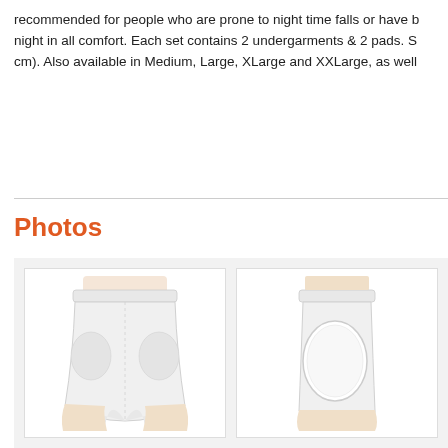recommended for people who are prone to night time falls or have b… night in all comfort. Each set contains 2 undergarments & 2 pads. S… cm). Also available in Medium, Large, XLarge and XXLarge, as well…
Photos
[Figure (photo): Front view of white hip protector shorts undergarment with padded hip areas visible]
[Figure (photo): Side view of white hip protector shorts showing oval protective pad on the hip area]